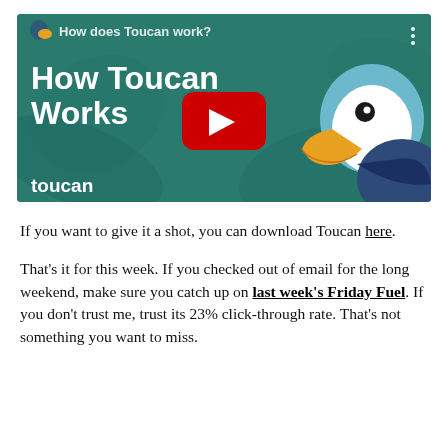[Figure (screenshot): YouTube video thumbnail for 'How does Toucan work?' showing a cartoon toucan bird on a teal/dark green background with the text 'How Toucan Works' and the Toucan logo at the bottom left, with a red YouTube play button in the center.]
If you want to give it a shot, you can download Toucan here.
That's it for this week. If you checked out of email for the long weekend, make sure you catch up on last week's Friday Fuel. If you don't trust me, trust its 23% click-through rate. That's not something you want to miss.